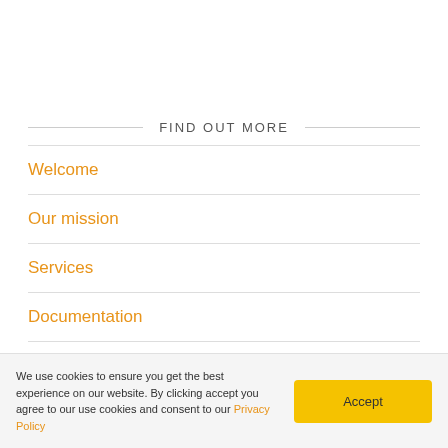FIND OUT MORE
Welcome
Our mission
Services
Documentation
Technology
Find contractor
We use cookies to ensure you get the best experience on our website. By clicking accept you agree to our use cookies and consent to our Privacy Policy